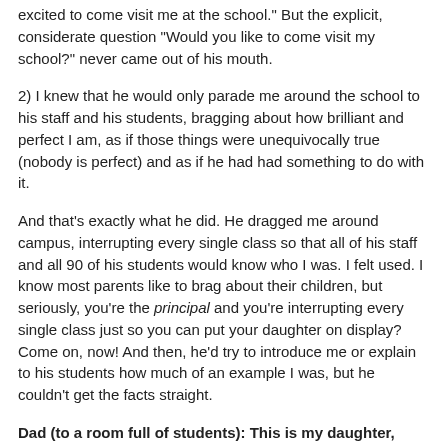excited to come visit me at the school." But the explicit, considerate question "Would you like to come visit my school?" never came out of his mouth.
2) I knew that he would only parade me around the school to his staff and his students, bragging about how brilliant and perfect I am, as if those things were unequivocally true (nobody is perfect) and as if he had had something to do with it.
And that's exactly what he did. He dragged me around campus, interrupting every single class so that all of his staff and all 90 of his students would know who I was. I felt used. I know most parents like to brag about their children, but seriously, you're the principal and you're interrupting every single class just so you can put your daughter on display? Come on, now! And then, he'd try to introduce me or explain to his students how much of an example I was, but he couldn't get the facts straight.
Dad (to a room full of students): This is my daughter, Danielle. She goes to the University of Michigan.
Me (to him): Michigan State University; they're